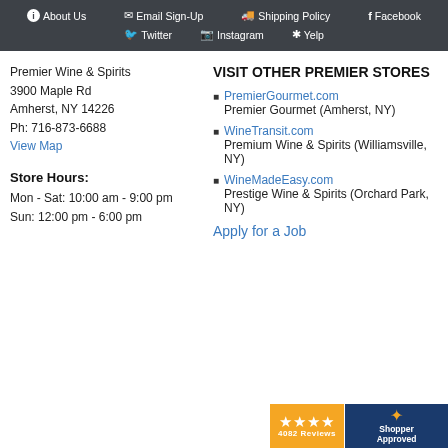About Us | Email Sign-Up | Shipping Policy | Facebook | Twitter | Instagram | Yelp
Premier Wine & Spirits
3900 Maple Rd
Amherst, NY 14226
Ph: 716-873-6688
View Map
Store Hours:
Mon - Sat: 10:00 am - 9:00 pm
Sun: 12:00 pm - 6:00 pm
VISIT OTHER PREMIER STORES
PremierGourmet.com — Premier Gourmet (Amherst, NY)
WineTransit.com — Premium Wine & Spirits (Williamsville, NY)
WineMadeEasy.com — Prestige Wine & Spirits (Orchard Park, NY)
Apply for a Job
[Figure (other): Shopper Approved badge showing 4 stars and 4082 Reviews]